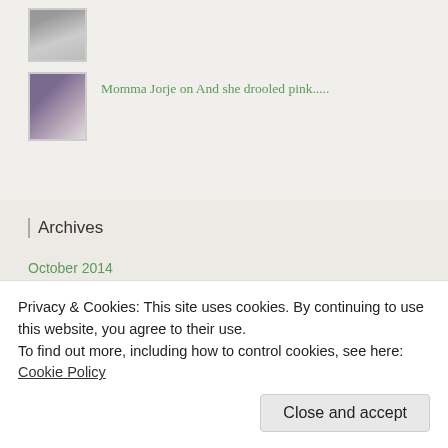[Figure (photo): Black and white headshot avatar of a smiling woman, small thumbnail]
Momma Jorje on And she drooled pink.....
[Figure (photo): Color photo avatar of a person wearing a colorful knit hat and glasses]
Archives
October 2014
January 2014
December 2013
Privacy & Cookies: This site uses cookies. By continuing to use this website, you agree to their use.
To find out more, including how to control cookies, see here: Cookie Policy
Close and accept